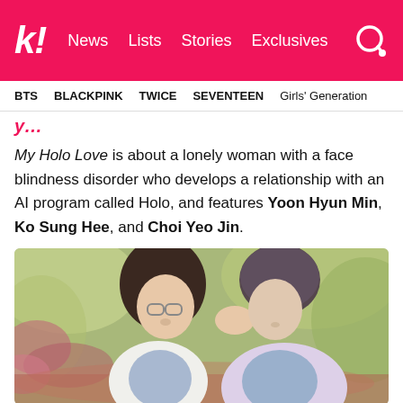k! News Lists Stories Exclusives
BTS   BLACKPINK   TWICE   SEVENTEEN   Girls' Generation
y…
My Holo Love is about a lonely woman with a face blindness disorder who develops a relationship with an AI program called Holo, and features Yoon Hyun Min, Ko Sung Hee, and Choi Yeo Jin.
[Figure (photo): A woman with glasses and a man facing each other closely outdoors, surrounded by blurred foliage. Scene from My Holo Love drama.]